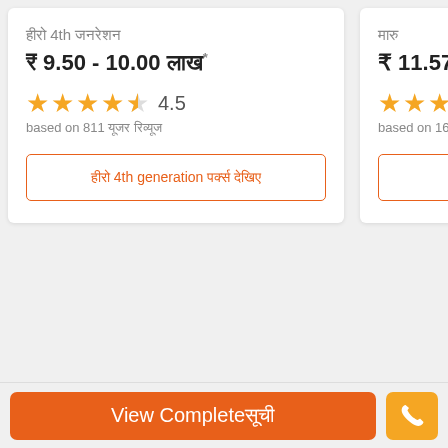हीरो 4th जनरेशन
₹ 9.50 - 10.00 लाख*
4.5 stars, based on 811 यूजर रिव्यूज
हीरो 4th generation पर्क्स देखिए
मारु
₹ 11.57 - 15.5...
based on 162 यूजर रि...
View Complete सूची
[Figure (other): Phone call button icon]